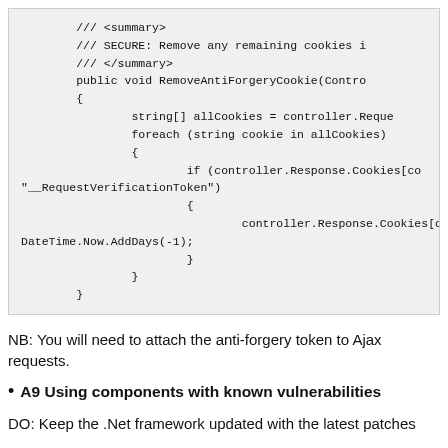[Figure (screenshot): Code block showing C# method RemoveAntiForgerycookie with XML doc comments, iterating cookies and expiring the request verification token cookie.]
NB: You will need to attach the anti-forgery token to Ajax requests.
A9 Using components with known vulnerabilities
DO: Keep the .Net framework updated with the latest patches
DO: Keep your NuGet packages up to date, many will contain their ow